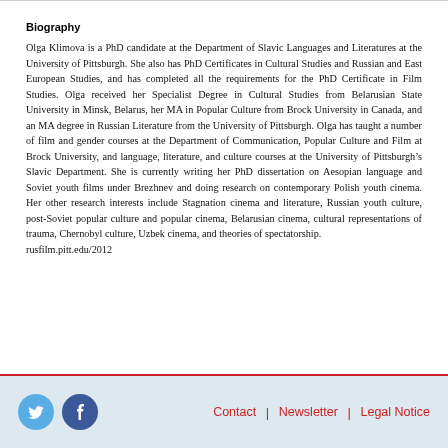Biography
Olga Klimova is a PhD candidate at the Department of Slavic Languages and Literatures at the University of Pittsburgh. She also has PhD Certificates in Cultural Studies and Russian and East European Studies, and has completed all the requirements for the PhD Certificate in Film Studies. Olga received her Specialist Degree in Cultural Studies from Belarusian State University in Minsk, Belarus, her MA in Popular Culture from Brock University in Canada, and an MA degree in Russian Literature from the University of Pittsburgh. Olga has taught a number of film and gender courses at the Department of Communication, Popular Culture and Film at Brock University, and language, literature, and culture courses at the University of Pittsburgh’s Slavic Department. She is currently writing her PhD dissertation on Aesopian language and Soviet youth films under Brezhnev and doing research on contemporary Polish youth cinema. Her other research interests include Stagnation cinema and literature, Russian youth culture, post-Soviet popular culture and popular cinema, Belarusian cinema, cultural representations of trauma, Chernobyl culture, Uzbek cinema, and theories of spectatorship.
rusfilm.pitt.edu/2012
Contact | Newsletter | Legal Notice